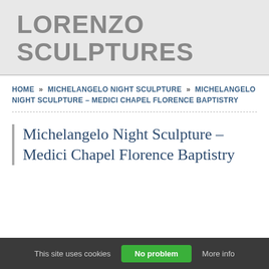LORENZO SCULPTURES
HOME » MICHELANGELO NIGHT SCULPTURE » MICHELANGELO NIGHT SCULPTURE – MEDICI CHAPEL FLORENCE BAPTISTRY
Michelangelo Night Sculpture – Medici Chapel Florence Baptistry
This site uses cookies   No problem   More info